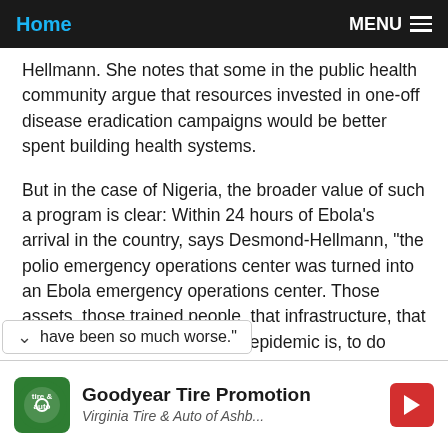Home | MENU
Hellmann. She notes that some in the public health community argue that resources invested in one-off disease eradication campaigns would be better spent building health systems.
But in the case of Nigeria, the broader value of such a program is clear: Within 24 hours of Ebola’s arrival in the country, says Desmond-Hellmann, “the polio emergency operations center was turned into an Ebola emergency operations center. Those assets, those trained people, that infrastructure, that ability to understand what an epidemic is, to do contract tracing, all the things they needed to do—they immediately stamped out Ebola…The scope of it have been so much worse.”
[Figure (other): Goodyear Tire Promotion advertisement banner with logo, title, and navigation arrow]